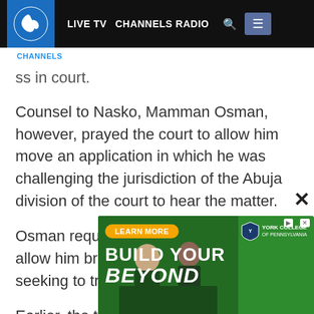LIVE TV  CHANNELS RADIO  [search]  [menu]
…ss in court.
Counsel to Nasko, Mamman Osman, however, prayed the court to allow him move an application in which he was challenging the jurisdiction of the Abuja division of the court to hear the matter.
Osman requested for an adjournment to allow him bring another application seeking to transfer the matter.
Earlier, the trial judge, Justice Nnamdi Dimgba had m[…]ed his ap[…]as one a[…]
[Figure (screenshot): York College of Pennsylvania advertisement banner showing 'BUILD YOUR BEYOND' text with a 'LEARN MORE' button and people studying in background]